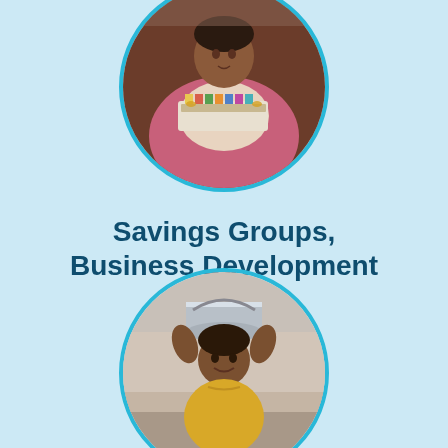[Figure (photo): Circular cropped photo of a woman in a pink sari holding a box/tray of items, framed by a teal circular border, positioned at the top center of the page.]
Savings Groups, Business Development
Learn More
[Figure (photo): Circular cropped photo of a young boy carrying a large silver pot/bucket on his head, framed by a teal circular border, positioned at the bottom center of the page.]